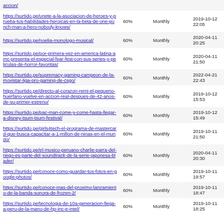| URL | Priority | Change Frequency | Last Modified |
| --- | --- | --- | --- |
| https://surtido.pe/accion/ | 60% | Monthly |  |
| https://surtido.pe/unete-a-la-asociacion-de-heroes-y-prueba-tus-habilidades-heroicas-en-la-beta-de-one-punch-man-a-hero-nobody-knows/ | 60% | Monthly | 2019-10-12 22:05 |
| https://surtido.pe/noelia-monologo-musical/ | 60% | Monthly | 2020-04-11 20:25 |
| https://surtido.pe/por-primera-vez-en-america-latina-amc-presenta-el-especial-fear-fest-con-sus-series-y-peliculas-de-horror-favoritas/ | 60% | Monthly | 2020-04-11 21:50 |
| https://surtido.pe/supremacy-gaming-campeon-de-la-movistar-liga-pro-gaming-de-csgo/ | 60% | Monthly | 2022-04-21 22:43 |
| https://surtido.pe/directo-al-corazon-remi-el-pequeno-huerfano-vuelve-en-accion-real-despues-de-42-anos-de-su-primer-estreno/ | 60% | Monthly | 2019-10-12 15:53 |
| https://surtido.pe/pac-man-come-y-come-hasta-llegar-a-disney-tsum-tsum-festival/ | 60% | Monthly | 2019-10-12 15:49 |
| https://surtido.pe/girls4tech-el-programa-de-mastercard-que-busca-capacitar-a-1-millon-de-ninas-en-el-mundo/ | 60% | Monthly | 2019-10-11 21:50 |
| https://surtido.pe/el-musico-peruano-charlie-parra-del-riego-es-parte-del-soundtrack-de-la-serie-japonesa-blader/ | 60% | Monthly | 2020-04-11 20:30 |
| https://surtido.pe/conoce-como-guardar-tus-fotos-en-google-photos/ | 60% | Monthly | 2019-10-11 19:57 |
| https://surtido.pe/conoce-mas-del-proximo-lanzamiento-de-la-banda-sonora-de-frozen-2/ | 60% | Monthly | 2019-10-11 18:47 |
| https://surtido.pe/tecnologia-de-10a-generacion-llega-a-peru-de-la-mano-de-hp-inc-e-intel/ | 60% | Monthly | 2019-10-11 18:25 |